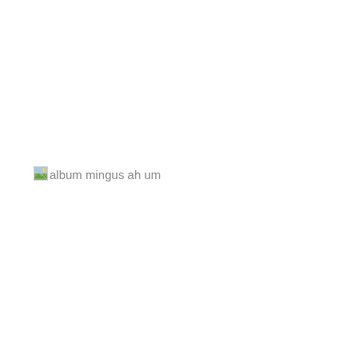[Figure (photo): Broken image placeholder with alt text 'album mingus ah um']